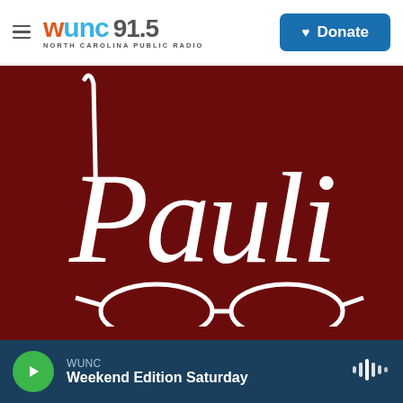WUNC 91.5 NORTH CAROLINA PUBLIC RADIO | Donate
[Figure (illustration): Dark maroon/burgundy background with white cursive script text reading 'Pauli' and partial view of illustrated glasses at the bottom]
WUNC — Weekend Edition Saturday (player bar with play button and audio waveform icon)